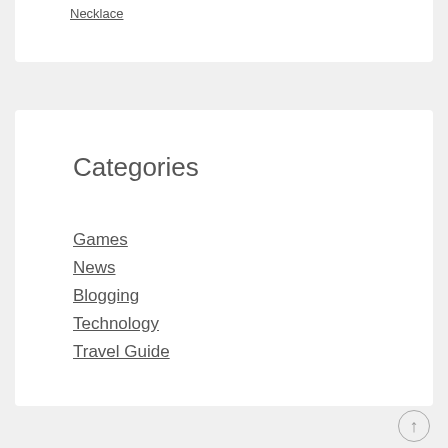Necklace
Categories
Games
News
Blogging
Technology
Travel Guide
↑